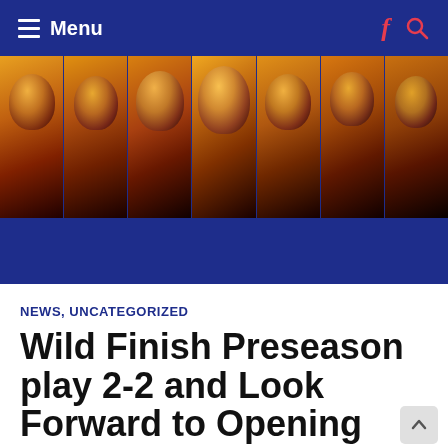Menu
[Figure (photo): Banner image showing seven young men's faces in a horizontal strip with orange/red thermal-style color filter, on a dark blue background]
NEWS, UNCATEGORIZED
Wild Finish Preseason play 2-2 and Look Forward to Opening